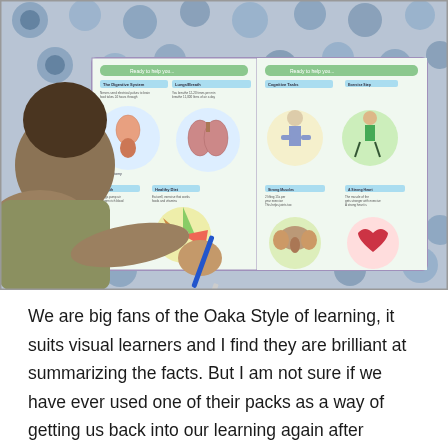[Figure (photo): A child viewed from behind, sitting at a floral-patterned tablecloth, writing in an open educational workbook. The book shows illustrated pages about the human body with sections on the digestive system, healthy diet, muscles, and the heart. The child holds a blue pen and is actively filling in the workbook.]
We are big fans of the Oaka Style of learning, it suits visual learners and I find they are brilliant at summarizing the facts. But I am not sure if we have ever used one of their packs as a way of getting us back into our learning again after having a break. It works. It was a great way of